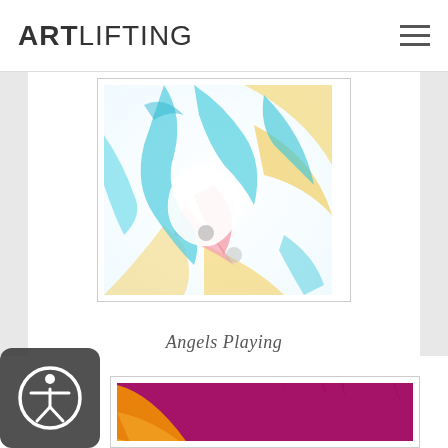ARTLIFTING
[Figure (photo): Abstract painting 'Angels Playing' with swirling pastel colors — teal, blue, pink, yellow — suggesting angelic forms with a yin-yang motif]
Angels Playing
ANELIYA KOSTOVA
[Figure (photo): Abstract textured painting with deep magenta/purple background and bright orange-yellow area in the lower left, with visible brushwork texture]